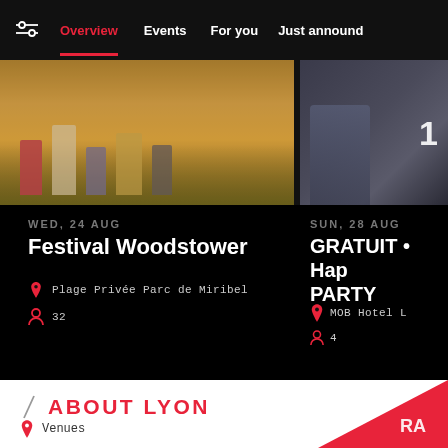Overview | Events | For you | Just announced
[Figure (photo): Two side-by-side photos: left shows people in outdoor festival setting on grass, right shows person with camera equipment with number badge]
WED, 24 AUG
Festival Woodstower
Plage Privée Parc de Miribel
32
SUN, 28 AUG
GRATUIT • Hap PARTY
MOB Hotel L
4
ABOUT LYON
Venues